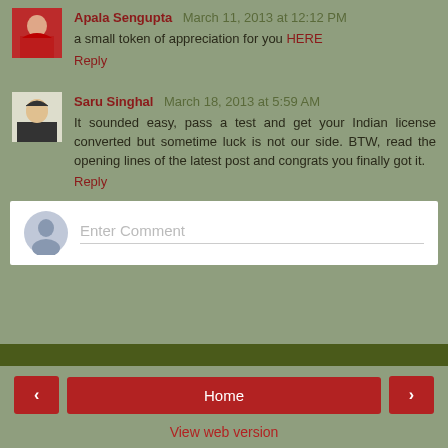Apala Sengupta March 11, 2013 at 12:12 PM
a small token of appreciation for you HERE
Reply
Saru Singhal March 18, 2013 at 5:59 AM
It sounded easy, pass a test and get your Indian license converted but sometime luck is not on our side. BTW, read the opening lines of the latest post and congrats you finally got it.
Reply
Enter Comment
Home | View web version